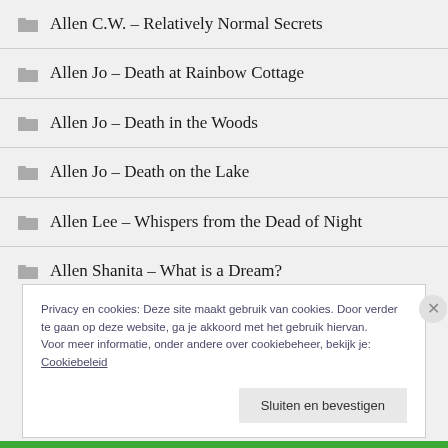Allen C.W. – Relatively Normal Secrets
Allen Jo – Death at Rainbow Cottage
Allen Jo – Death in the Woods
Allen Jo – Death on the Lake
Allen Lee – Whispers from the Dead of Night
Allen Shanita – What is a Dream?
Privacy en cookies: Deze site maakt gebruik van cookies. Door verder te gaan op deze website, ga je akkoord met het gebruik hiervan. Voor meer informatie, onder andere over cookiebeheer, bekijk je: Cookiebeleid
Sluiten en bevestigen